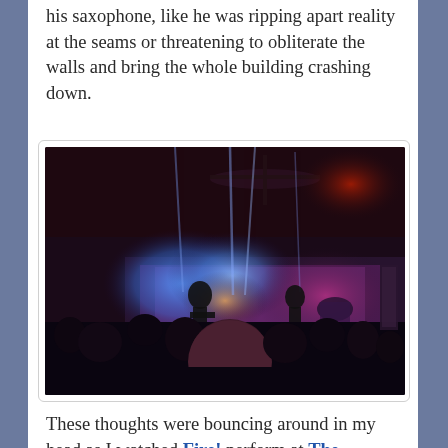his saxophone, like he was ripping apart reality at the seams or threatening to obliterate the walls and bring the whole building crashing down.
[Figure (photo): Concert photo showing a packed indoor venue with a band performing on stage. Blue and red stage lights illuminate the scene. Ceiling fans and industrial ceiling visible. Crowd silhouettes in foreground, band on stage in background with blue spotlights.]
These thoughts were bouncing around in my head as I watched Fire! perform at The Standard on Friday night. This was my first opportunity to see them live. The raw strength and driving intensity displayed by the trio didn't